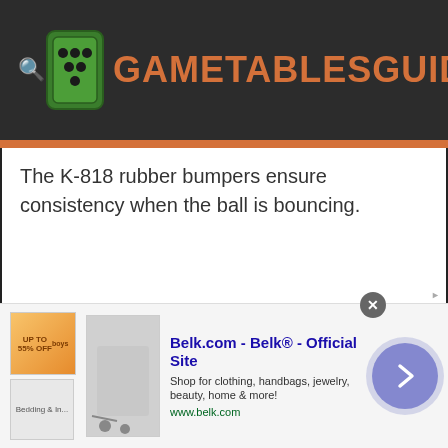GAMETABLESGUIDE
The K-818 rubber bumpers ensure consistency when the ball is bouncing.
[Figure (screenshot): Advertisement for Belk.com - Belk® - Official Site. Shows promotional thumbnails on left, a product image, ad text reading 'Belk.com - Belk® - Official Site', 'Shop for clothing, handbags, jewelry, beauty, home & more!' and URL 'www.belk.com', with a forward arrow button on the right.]